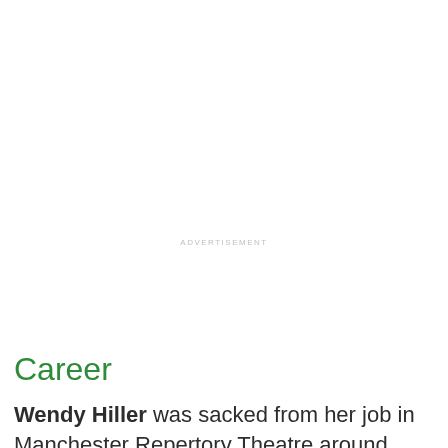ADVERTISEMENT
Career
Wendy Hiller was sacked from her job in Manchester Repertory Theatre around 1934, but later rehired and cast as Sally Hardcastle in Love